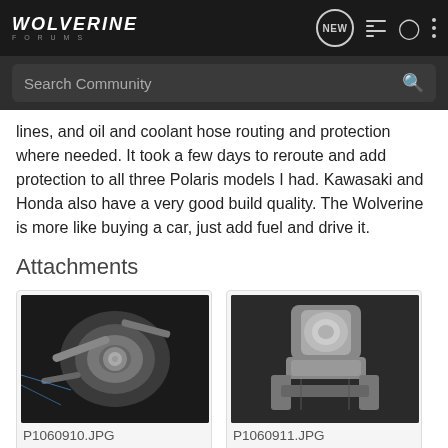WOLVERINE FORUMS — navigation bar with NEW, list, person, and more icons
Search Community
lines, and oil and coolant hose routing and protection where needed. It took a few days to reroute and add protection to all three Polaris models I had. Kawasaki and Honda also have a very good build quality. The Wolverine is more like buying a car, just add fuel and drive it.
Attachments
[Figure (photo): Close-up photo of a mechanical component (brake caliper or suspension part) on a vehicle, silver/grey metallic finish against dark background. File: P1060910.JPG, 95.3 KB, Views: 559]
[Figure (photo): Close-up photo of a mechanical component (suspension joint or steering component) on a vehicle, silver metallic finish. File: P1060911.JPG, 93.9 KB, Views: 532]